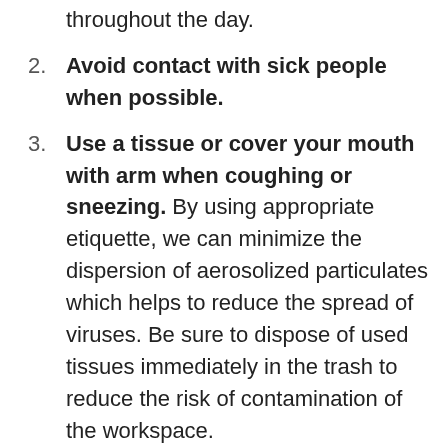throughout the day.
2. Avoid contact with sick people when possible.
3. Use a tissue or cover your mouth with arm when coughing or sneezing. By using appropriate etiquette, we can minimize the dispersion of aerosolized particulates which helps to reduce the spread of viruses. Be sure to dispose of used tissues immediately in the trash to reduce the risk of contamination of the workspace.
4. Wipe down public spaces, like tables, door knobs, keyboards, etc. with